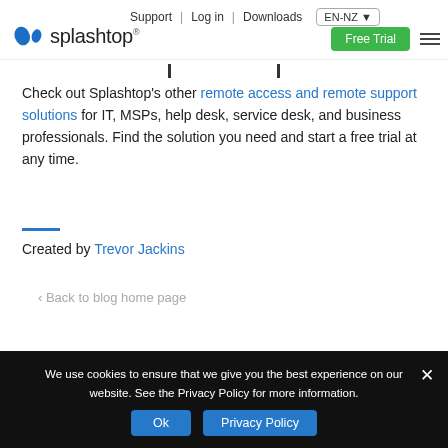Support | Log in | Downloads  EN-NZ  Free Trial
[Figure (logo): Splashtop logo with blue icon and wordmark]
Check out Splashtop's other remote access and remote support solutions for IT, MSPs, help desk, service desk, and business professionals. Find the solution you need and start a free trial at any time.
Created by Trevor Jackins
‹ Back to blog home page
We use cookies to ensure that we give you the best experience on our website. See the Privacy Policy for more information.